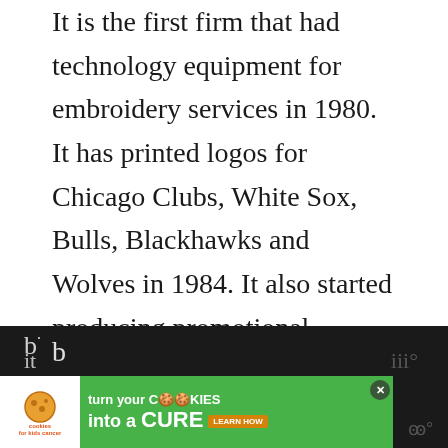It is the first firm that had technology equipment for embroidery services in 1980. It has printed logos for Chicago Clubs, White Sox, Bulls, Blackhawks and Wolves in 1984. It also started producing promotional products for different brands in the 1990s.
It knows that your logo represents your company, therefore, it screen-prints on your shirts in such a way that your
[Figure (screenshot): UI overlay showing heart/favorite button (blue circle with heart icon) and share button, plus a 'What's Next' card showing a thumbnail of clothing and text 'List Of Clothing...']
[Figure (screenshot): Advertisement banner: 'cookies for kids cancer — turn your COOKIES into a CURE LEARN HOW' with green background and close button]